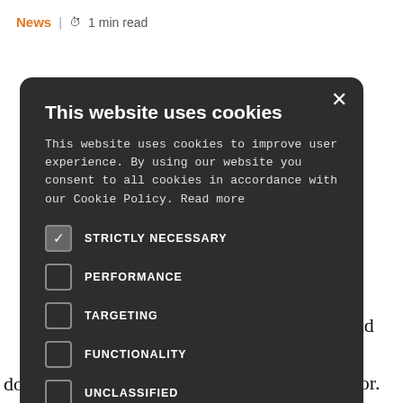News | 🕐 1 min read
[Figure (screenshot): Cookie consent modal dialog with dark background showing title 'This website uses cookies', body text, checkboxes for STRICTLY NECESSARY (checked), PERFORMANCE, TARGETING, FUNCTIONALITY, UNCLASSIFIED, and two buttons ACCEPT ALL (green) and DECLINE ALL, plus SHOW DETAILS link at bottom.]
dosing systems.